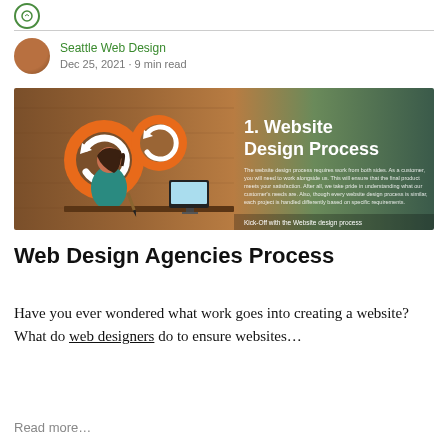Seattle Web Design
Dec 25, 2021 · 9 min read
[Figure (illustration): Banner image for a web design article showing an illustration of a woman working at a desk with large orange circular arrow icons, and text overlay '1. Website Design Process' with subtext about the website design process and 'Kick-Off with the Website design process']
Web Design Agencies Process
Have you ever wondered what work goes into creating a website? What do web designers do to ensure websites…
Read more…